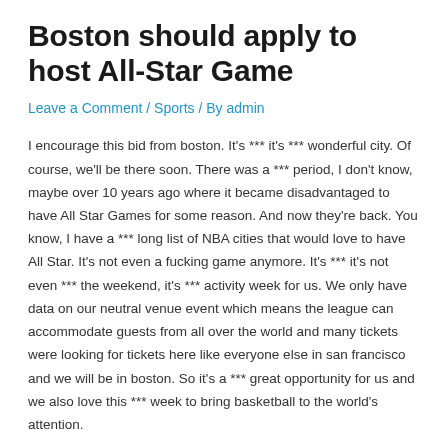Boston should apply to host All-Star Game
Leave a Comment / Sports / By admin
I encourage this bid from boston. It's *** it's *** wonderful city. Of course, we'll be there soon. There was a *** period, I don't know, maybe over 10 years ago where it became disadvantaged to have All Star Games for some reason. And now they're back. You know, I have a *** long list of NBA cities that would love to have All Star. It's not even a fucking game anymore. It's *** it's not even *** the weekend, it's *** activity week for us. We only have data on our neutral venue event which means the league can accommodate guests from all over the world and many tickets were looking for tickets here like everyone else in san francisco and we will be in boston. So it's a *** great opportunity for us and we also love this *** week to bring basketball to the world's attention.